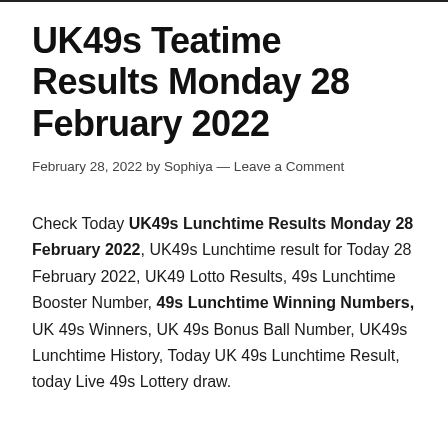UK49s Teatime Results Monday 28 February 2022
February 28, 2022 by Sophiya — Leave a Comment
Check Today UK49s Lunchtime Results Monday 28 February 2022, UK49s Lunchtime result for Today 28 February 2022, UK49 Lotto Results, 49s Lunchtime Booster Number, 49s Lunchtime Winning Numbers, UK 49s Winners, UK 49s Bonus Ball Number, UK49s Lunchtime History, Today UK 49s Lunchtime Result, today Live 49s Lottery draw.